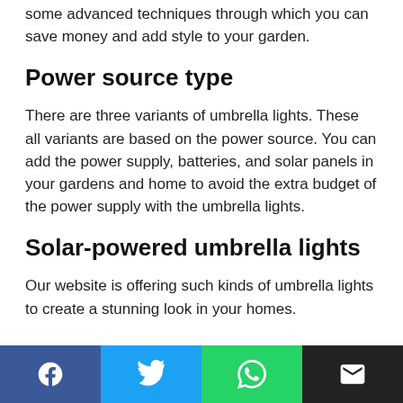some advanced techniques through which you can save money and add style to your garden.
Power source type
There are three variants of umbrella lights. These all variants are based on the power source. You can add the power supply, batteries, and solar panels in your gardens and home to avoid the extra budget of the power supply with the umbrella lights.
Solar-powered umbrella lights
Our website is offering such kinds of umbrella lights to create a stunning look in your homes.
[Figure (infographic): Social media share bar with four buttons: Facebook (dark blue), Twitter (light blue), WhatsApp (green), Email (black)]